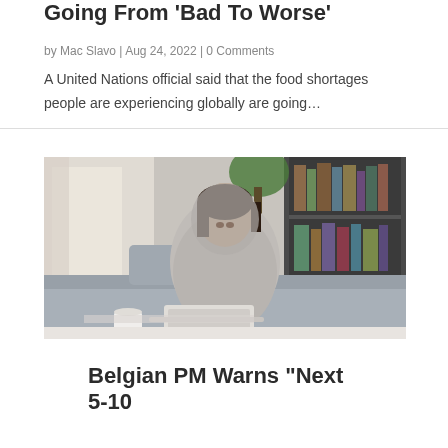Going From 'Bad To Worse'
by Mac Slavo | Aug 24, 2022 | 0 Comments
A United Nations official said that the food shortages people are experiencing globally are going…
[Figure (photo): A woman wrapped in a gray blanket sitting on a couch with a laptop open in front of her and a coffee cup on the table, appearing cold, bookshelf in background]
Belgian PM Warns "Next 5-10